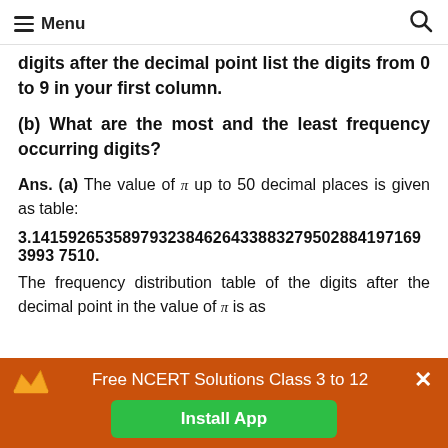Menu
digits after the decimal point list the digits from 0 to 9 in your first column.
(b) What are the most and the least frequency occurring digits?
Ans. (a) The value of π up to 50 decimal places is given as table:
3.14159265358979323846264338832795028841971693993 7510.
The frequency distribution table of the digits after the decimal point in the value of π is as
Free NCERT Solutions Class 3 to 12 Install App